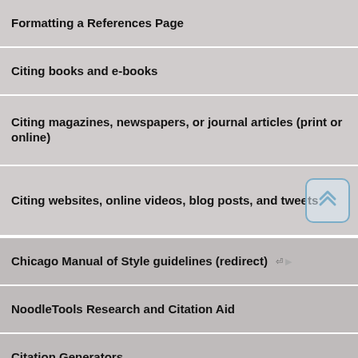Formatting a References Page
Citing books and e-books
Citing magazines, newspapers, or journal articles (print or online)
Citing websites, online videos, blog posts, and tweets
Chicago Manual of Style guidelines (redirect)
NoodleTools Research and Citation Aid
Citation Generators
GCC Interactive Tutorials
GCC English/ Writing Tutoring
Associated Press Style, Owl Purdue